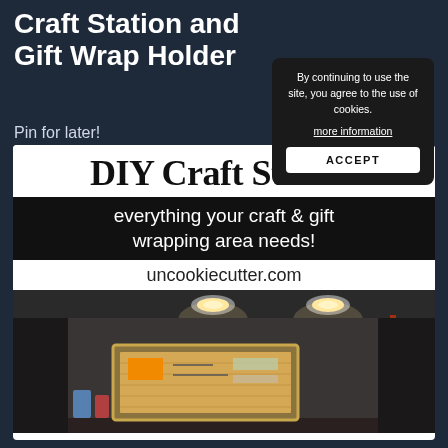Craft Station and Gift Wrap Holder
Pin for later!
By continuing to use the site, you agree to the use of cookies. more information ACCEPT
[Figure (illustration): DIY Craft Station promotional image card. Top white section: 'DIY Craft Station' in large serif bold black text. Black banner below: 'everything your craft & gift wrapping area needs!' in white sans-serif. White section: 'uncookiecutter.com' in dark text. Below is a photograph of a dark-walled craft room with recessed ceiling lights, a framed corkboard/organizer on the wall, and craft supplies visible on the right side.]